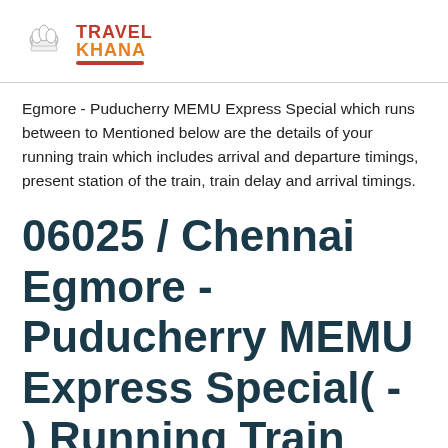TRAVEL KHANA
Egmore - Puducherry MEMU Express Special which runs between to Mentioned below are the details of your running train which includes arrival and departure timings, present station of the train, train delay and arrival timings.
06025 / Chennai Egmore - Puducherry MEMU Express Special( - ) Running Train Status